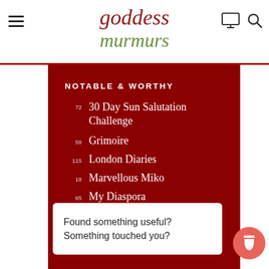goddess murmurs
NOTABLE & WORTHY
72  30 Day Sun Salutation Challenge
59  Grimoire
115  London Diaries
18  Marvellous Miko
65  My Diaspora
123  Petit Popo
Found something useful? Something touched you?